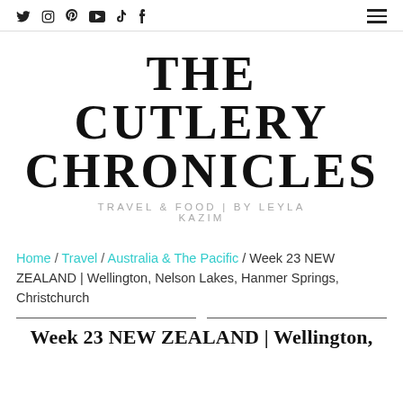Social icons: Twitter, Instagram, Pinterest, YouTube, TikTok, Facebook | Hamburger menu
THE CUTLERY CHRONICLES
TRAVEL & FOOD | BY LEYLA KAZIM
Home / Travel / Australia & The Pacific / Week 23 NEW ZEALAND | Wellington, Nelson Lakes, Hanmer Springs, Christchurch
Week 23 NEW ZEALAND | Wellington,